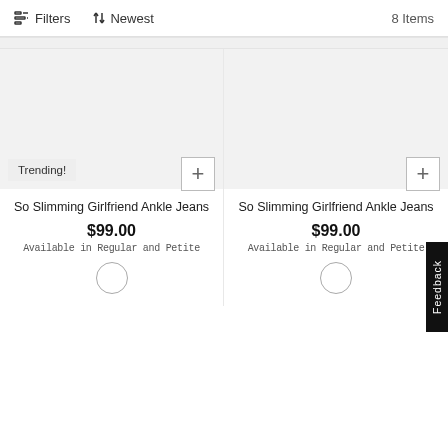Filters  ↑↓ Newest  8 Items
[Figure (screenshot): Product image area for first item - light gray background with Trending! badge]
So Slimming Girlfriend Ankle Jeans
$99.00
Available in Regular and Petite
[Figure (screenshot): Product image area for second item - light gray background]
So Slimming Girlfriend Ankle Jeans
$99.00
Available in Regular and Petite